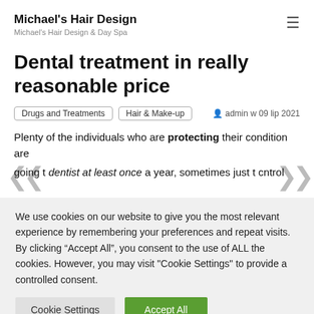Michael's Hair Design
Michael's Hair Design & Day Spa
Dental treatment in really reasonable price
Drugs and Treatments  Hair & Make-up  admin w 09 lip 2021
Plenty of the individuals who are protecting their condition are going to dentist at least once a year, sometimes just to control
We use cookies on our website to give you the most relevant experience by remembering your preferences and repeat visits. By clicking “Accept All”, you consent to the use of ALL the cookies. However, you may visit "Cookie Settings" to provide a controlled consent.